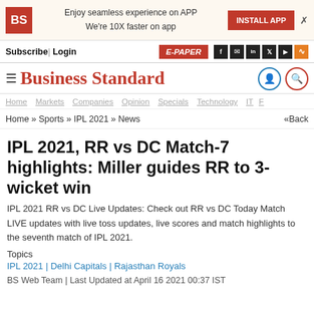[Figure (screenshot): Business Standard website screenshot with ad banner, navigation, and article]
BS | Enjoy seamless experience on APP We're 10X faster on app | INSTALL APP
Subscribe | Login | E-PAPER
Business Standard
Home Markets Companies Opinion Specials Technology
Home » Sports » IPL 2021 » News «Back
IPL 2021, RR vs DC Match-7 highlights: Miller guides RR to 3-wicket win
IPL 2021 RR vs DC Live Updates: Check out RR vs DC Today Match LIVE updates with live toss updates, live scores and match highlights to the seventh match of IPL 2021.
Topics
IPL 2021 | Delhi Capitals | Rajasthan Royals
BS Web Team | Last Updated at April 16 2021 00:37 IST